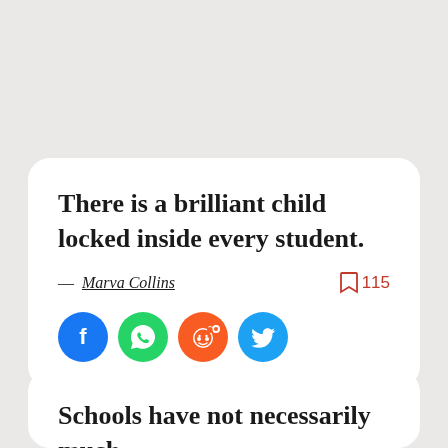There is a brilliant child locked inside every student.
— Marva Collins  115
[Figure (infographic): Social share buttons: Facebook (blue circle), WhatsApp (green circle), Reddit (orange circle), Twitter (light blue circle)]
Schools have not necessarily much